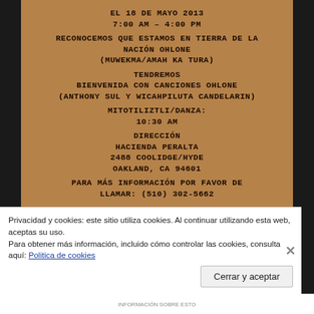[Figure (photo): Handwritten flyer on kraft/brown paper with event details in Spanish for a Ohlone Nation event. Text reads: EL 18 DE MAYO 2013 / 7:00 AM - 4:00 PM / RECONOCEMOS QUE ESTAMOS EN TIERRA DE LA NACIÓN OHLONE (MUWEKMA/AMAH KA TURA) / TENDREMOS BIENVENIDA CON CANCIONES OHLONE (ANTHONY SUL Y WICAHPILUTA CANDELARIN) / MITOTILIZTLI/DANZA: 10:30 AM / DIRECCIÓN HACIENDA PERALTA 2488 COOLIDGE/HYDE OAKLAND, CA 94601 / PARA MAS INFORMACIÓN POR FAVOR DE LLAMAR: (510) 302-5662]
Privacidad y cookies: este sitio utiliza cookies. Al continuar utilizando esta web, aceptas su uso.
Para obtener más información, incluido cómo controlar las cookies, consulta aquí: Politica de cookies
Cerrar y aceptar